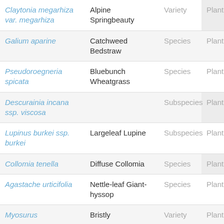| Scientific Name | Common Name | Rank | Kingdom |
| --- | --- | --- | --- |
| Claytonia megarhiza var. megarhiza | Alpine Springbeauty | Variety | Plant |
| Galium aparine | Catchweed Bedstraw | Species | Plant |
| Pseudoroegneria spicata | Bluebunch Wheatgrass | Species | Plant |
| Descurainia incana ssp. viscosa |  | Subspecies | Plant |
| Lupinus burkei ssp. burkei | Largeleaf Lupine | Subspecies | Plant |
| Collomia tenella | Diffuse Collomia | Species | Plant |
| Agastache urticifolia | Nettle-leaf Giant-hyssop | Species | Plant |
| Myosurus | Bristly | Variety | Plant |